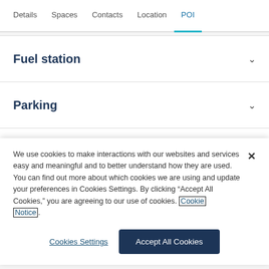Details  Spaces  Contacts  Location  POI
Fuel station
Parking
Hotels
We use cookies to make interactions with our websites and services easy and meaningful and to better understand how they are used. You can find out more about which cookies we are using and update your preferences in Cookies Settings. By clicking “Accept All Cookies,” you are agreeing to our use of cookies. Cookie Notice.
Cookies Settings
Accept All Cookies